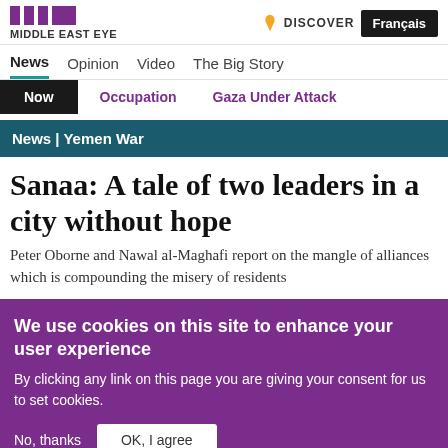MIDDLE EAST EYE | DISCOVER | Français
News   Opinion   Video   The Big Story
Now   Occupation   Gaza Under Attack
News | Yemen War
Sanaa: A tale of two leaders in a city without hope
Peter Oborne and Nawal al-Maghafi report on the mangle of alliances which is compounding the misery of residents
We use cookies on this site to enhance your user experience
By clicking any link on this page you are giving your consent for us to set cookies.
No, thanks   OK, I agree